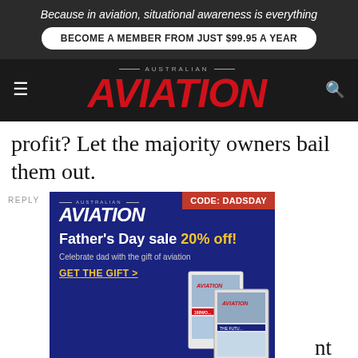Because in aviation, situational awareness is everything
BECOME A MEMBER FROM JUST $99.95 A YEAR
[Figure (logo): Australian Aviation magazine logo with red italic AVIATION text]
profit? Let the majority owners bail them out.
REPLY
[Figure (infographic): Australian Aviation Father's Day sale advertisement - 20% off, CODE: DADSDAY, blue background with magazine mockup]
[Figure (infographic): Cessna SkyCourier advertisement - HARDWORKING, REVENUE-GENERATING? YES PLEASE.]
Other than Singapore Airlines lessor extent